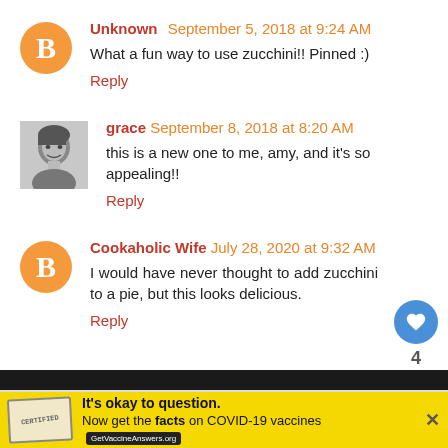Unknown  September 5, 2018 at 9:24 AM
What a fun way to use zucchini!! Pinned :)
Reply
grace  September 8, 2018 at 8:20 AM
this is a new one to me, amy, and it's so appealing!!
Reply
Cookaholic Wife  July 28, 2020 at 9:32 AM
I would have never thought to add zucchini to a pie, but this looks delicious.
Reply
It's okay to question. Now get the facts on COVID-19 vaccines  GetVaccineAnswers.org